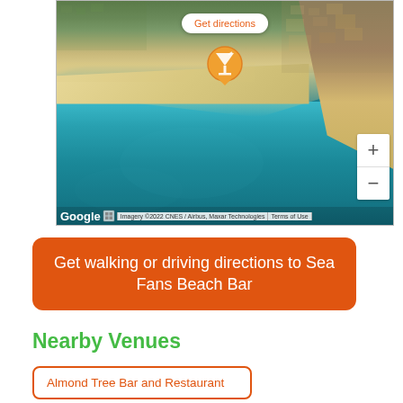[Figure (screenshot): Google Maps satellite view of a beach area (Sea Fans Beach Bar location) showing turquoise water, sandy beach, and surrounding buildings/city. Has a 'Get directions' popup bubble, a cocktail-glass pin marker, zoom controls (+/-), and attribution text: 'Google | Imagery ©2022 CNES / Airbus, Maxar Technologies | Terms of Use'.]
Get walking or driving directions to Sea Fans Beach Bar
Nearby Venues
Almond Tree Bar and Restaurant